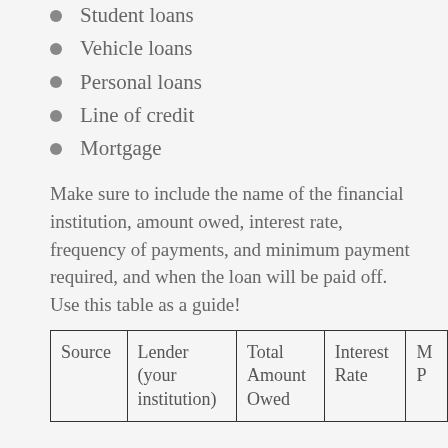Student loans
Vehicle loans
Personal loans
Line of credit
Mortgage
Make sure to include the name of the financial institution, amount owed, interest rate, frequency of payments, and minimum payment required, and when the loan will be paid off. Use this table as a guide!
| Source | Lender (your institution) | Total Amount Owed | Interest Rate | M P |
| --- | --- | --- | --- | --- |
|  |  |  |  |  |